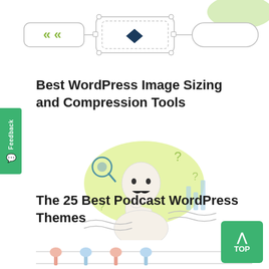[Figure (illustration): Flowchart/diagram illustration showing connected boxes with arrows and decorative shapes in green and dark blue tones at the top of the page]
Best WordPress Image Sizing and Compression Tools
[Figure (illustration): Illustration of a bald man with a moustache thinking, surrounded by question marks and magnifying glass, on a green blob background]
The 25 Best Podcast WordPress Themes
[Figure (illustration): Bottom strip illustration showing podcast microphone stands and equipment in a row]